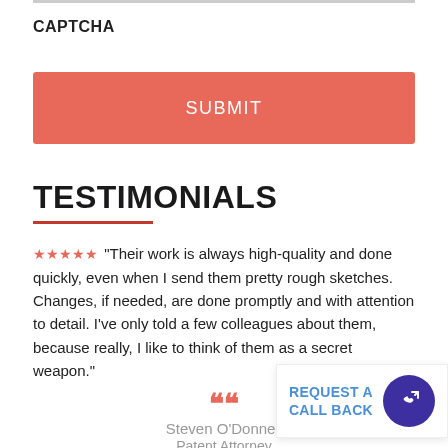CAPTCHA
SUBMIT
TESTIMONIALS
★★★★★ "Their work is always high-quality and done quickly, even when I send them pretty rough sketches. Changes, if needed, are done promptly and with attention to detail. I've only told a few colleagues about them, because really, I like to think of them as a secret weapon."
Steven O'Donnell
Patent Attorney